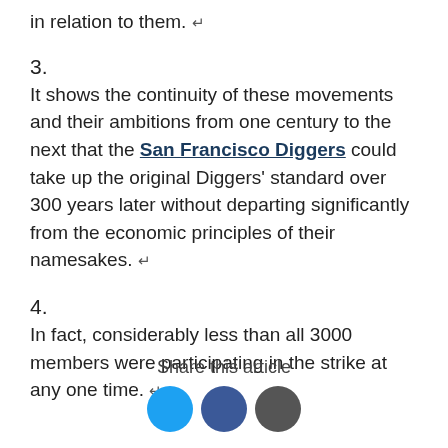in relation to them. ↵
3.
It shows the continuity of these movements and their ambitions from one century to the next that the San Francisco Diggers could take up the original Diggers' standard over 300 years later without departing significantly from the economic principles of their namesakes. ↵
4.
In fact, considerably less than all 3000 members were participating in the strike at any one time. ↵
Share this article